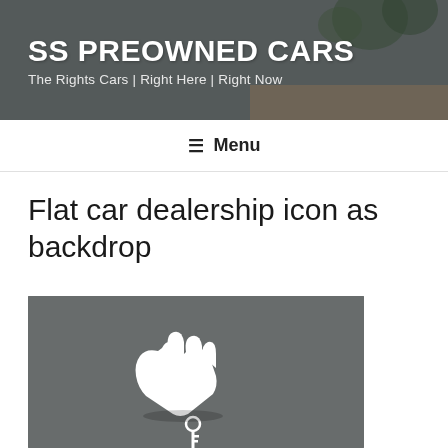SS PREOWNED CARS
The Rights Cars | Right Here | Right Now
☰ Menu
Flat car dealership icon as backdrop
[Figure (photo): A flat icon of a hand holding a car key against a dark grey background]